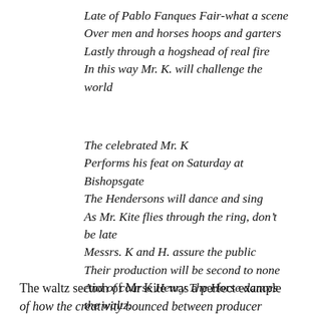Late of Pablo Fanques Fair-what a scene
Over men and horses hoops and garters
Lastly through a hogshead of real fire
In this way Mr. K. will challenge the world
The celebrated Mr. K
Performs his feat on Saturday at Bishopsgate
The Hendersons will dance and sing
As Mr. Kite flies through the ring, don't be late
Messrs. K and H. assure the public
Their production will be second to none
And of course Henry The Horse dances the waltz.
The waltz section of Mr Kite was a perfect example of how the creativity bounced between producer...